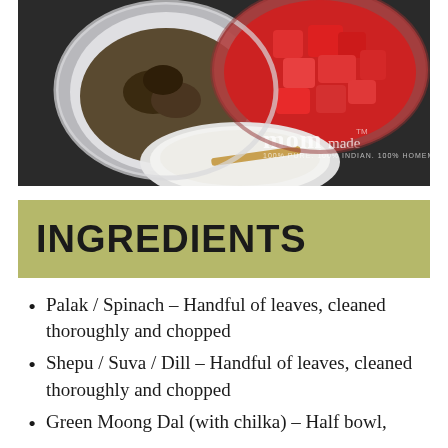[Figure (photo): Overhead photo of cooking ingredients in metal bowls on a dark surface: one bowl with dark cooked/soaked items, one bowl with chopped red tomatoes, and one white bowl with a lighter mixture and a wooden spoon. The 'mom made' brand logo is overlaid in white text.]
INGREDIENTS
Palak / Spinach – Handful of leaves, cleaned thoroughly and chopped
Shepu / Suva / Dill – Handful of leaves, cleaned thoroughly and chopped
Green Moong Dal (with chilka) – Half bowl, soaked